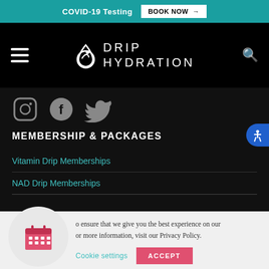COVID-19 Testing  BOOK NOW →
[Figure (logo): Drip Hydration logo with hamburger menu icon and search icon on black nav bar]
[Figure (illustration): Instagram, Facebook, and Twitter social media icons in gray on dark background]
MEMBERSHIP & PACKAGES
Vitamin Drip Memberships
NAD Drip Memberships
o ensure that we give you the best experience on our or more information, visit our Privacy Policy.
Cookie settings  ACCEPT